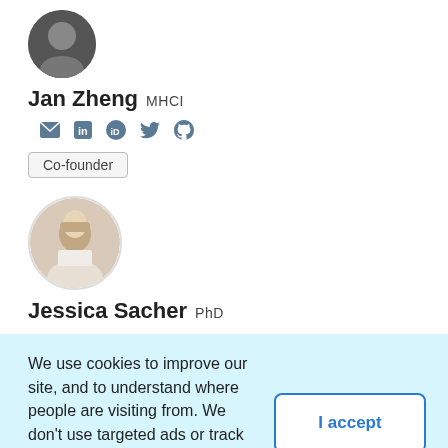[Figure (photo): Circular avatar photo of Jan Zheng, partially cropped at top]
Jan Zheng MHCI
[Figure (infographic): Row of social media icons: email, LinkedIn, ORCID, Twitter, GitHub]
Co-founder
[Figure (photo): Circular profile photo of Jessica Sacher, a woman with blonde hair in a lab setting]
Jessica Sacher PhD
We use cookies to improve our site, and to understand where people are visiting from. We don't use targeted ads or track personal information. Read our site policies here.
year, we set out to empower the community —